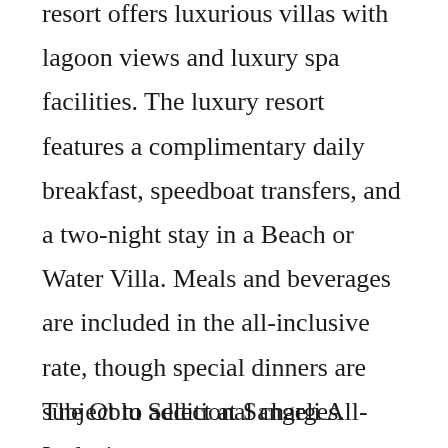resort offers luxurious villas with lagoon views and luxury spa facilities. The luxury resort features a complimentary daily breakfast, speedboat transfers, and a two-night stay in a Beach or Water Villa. Meals and beverages are included in the all-inclusive rate, though special dinners are subject to additional charges.
The Oblu Select at Sangeli All-Inclusive